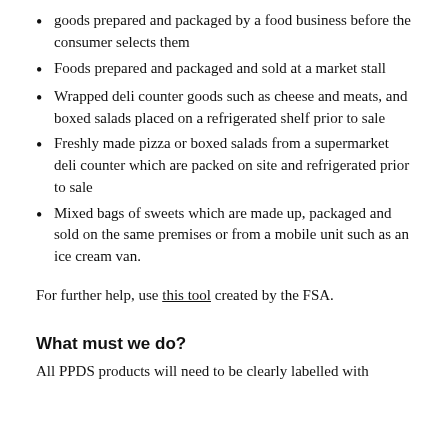goods prepared and packaged by a food business before the consumer selects them
Foods prepared and packaged and sold at a market stall
Wrapped deli counter goods such as cheese and meats, and boxed salads placed on a refrigerated shelf prior to sale
Freshly made pizza or boxed salads from a supermarket deli counter which are packed on site and refrigerated prior to sale
Mixed bags of sweets which are made up, packaged and sold on the same premises or from a mobile unit such as an ice cream van.
For further help, use this tool created by the FSA.
What must we do?
All PPDS products will need to be clearly labelled with